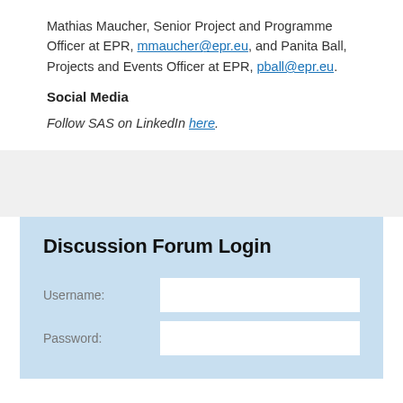Mathias Maucher, Senior Project and Programme Officer at EPR, mmaucher@epr.eu, and Panita Ball, Projects and Events Officer at EPR, pball@epr.eu.
Social Media
Follow SAS on LinkedIn here.
[Figure (screenshot): Discussion Forum Login form with Username and Password fields on a light blue background]